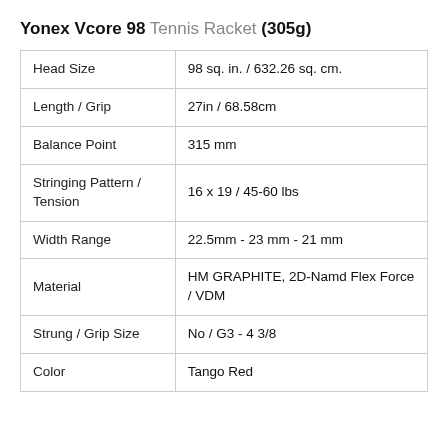Yonex Vcore 98 Tennis Racket (305g)
| Specification | Value |
| --- | --- |
| Head Size | 98 sq. in. / 632.26 sq. cm. |
| Length / Grip | 27in / 68.58cm |
| Balance Point | 315 mm |
| Stringing Pattern / Tension | 16 x 19 / 45-60 lbs |
| Width Range | 22.5mm - 23 mm - 21 mm |
| Material | HM GRAPHITE, 2D-Namd Flex Force / VDM |
| Strung / Grip Size | No / G3 - 4 3/8 |
| Color | Tango Red |